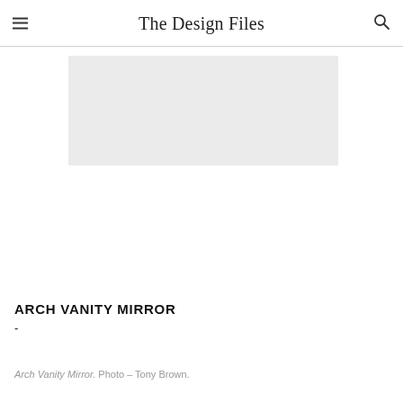The Design Files
[Figure (photo): A partially visible image placeholder (light grey rectangle) showing the top portion of an Arch Vanity Mirror photo.]
ARCH VANITY MIRROR
Arch Vanity Mirror. Photo – Tony Brown.